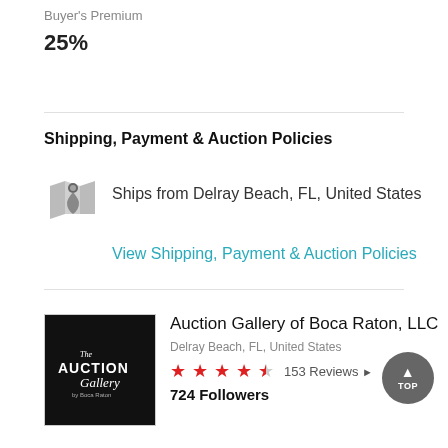Buyer's Premium
25%
Shipping, Payment & Auction Policies
Ships from Delray Beach, FL, United States
View Shipping, Payment & Auction Policies
Auction Gallery of Boca Raton, LLC
Delray Beach, FL, United States
153 Reviews
724 Followers